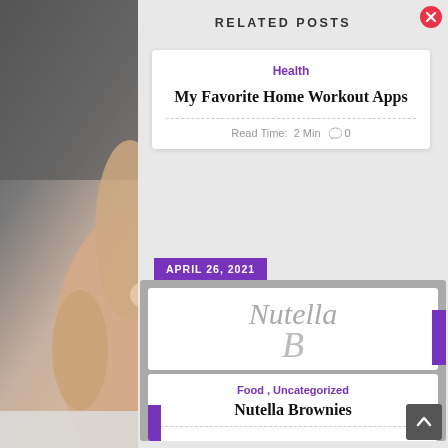[Figure (photo): Close-up photo of a human hand with a small bump/lump visible on the skin, against a blurry background]
PI
RELATED POSTS
Health
My Favorite Home Workout Apps
Read Time:  2 Min    ○  0
APRIL 26, 2021
[Figure (illustration): Nutella Brownies recipe card image showing cursive text 'Nutella' and partial letter 'B' in gray script]
Food , Uncategorized
Nutella Brownies